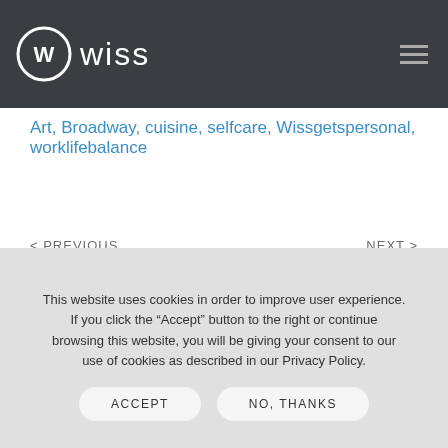Wiss
Art, Broadway, cuisine, selfcare, Wissgetspersonal, worklifebalance
< PREVIOUS    NEXT >
Leave a Reply
This website uses cookies in order to improve user experience. If you click the “Accept” button to the right or continue browsing this website, you will be giving your consent to our use of cookies as described in our Privacy Policy.
ACCEPT    NO, THANKS